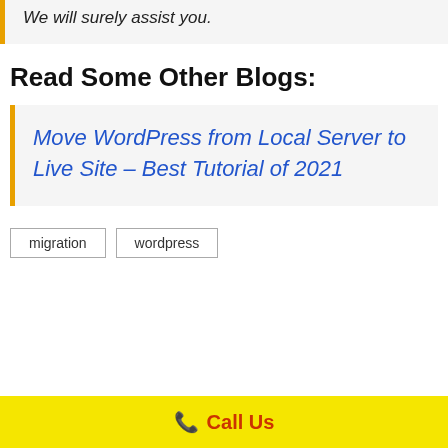We will surely assist you.
Read Some Other Blogs:
Move WordPress from Local Server to Live Site – Best Tutorial of 2021
migration
wordpress
Call Us